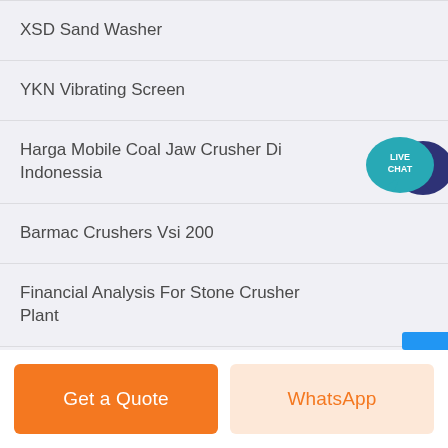XSD Sand Washer
YKN Vibrating Screen
Harga Mobile Coal Jaw Crusher Di Indonessia
Barmac Crushers Vsi 200
Financial Analysis For Stone Crusher Plant
[Figure (illustration): Live Chat speech bubble icon in teal/dark blue colors positioned at top right]
Get a Quote
WhatsApp